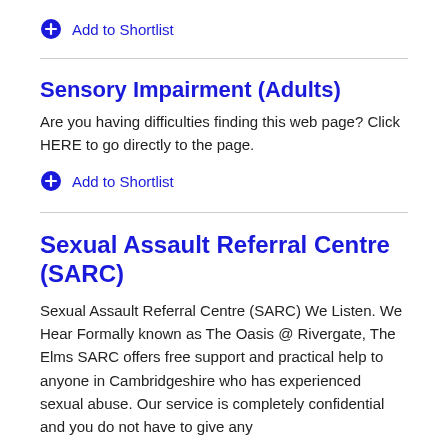Add to Shortlist
Sensory Impairment (Adults)
Are you having difficulties finding this web page? Click HERE to go directly to the page.
Add to Shortlist
Sexual Assault Referral Centre (SARC)
Sexual Assault Referral Centre (SARC) We Listen. We Hear Formally known as The Oasis @ Rivergate, The Elms SARC offers free support and practical help to anyone in Cambridgeshire who has experienced sexual abuse. Our service is completely confidential and you do not have to give any...